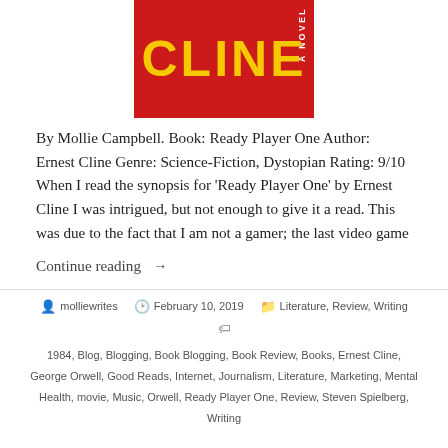[Figure (illustration): Book cover for 'Ready Player One' by Ernest Cline — red background with large yellow bold text 'CLINE' and 'A NOVEL' text rotated vertically on the right side.]
By Mollie Campbell. Book: Ready Player One Author: Ernest Cline Genre: Science-Fiction, Dystopian Rating: 9/10  When I read the synopsis for 'Ready Player One' by Ernest Cline I was intrigued, but not enough to give it a read. This was due to the fact that I am not a gamer; the last video game
Continue reading →
molliewrites   February 10, 2019   Literature, Review, Writing
1984, Blog, Blogging, Book Blogging, Book Review, Books, Ernest Cline, George Orwell, Good Reads, Internet, Journalism, Literature, Marketing, Mental Health, movie, Music, Orwell, Ready Player One, Review, Steven Spielberg, Writing